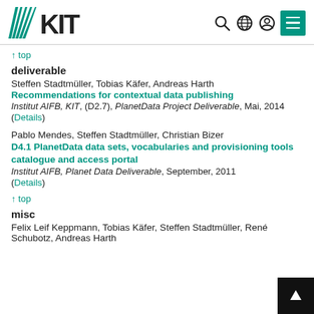KIT header with logo and navigation icons
↑ top
deliverable
Steffen Stadtmüller, Tobias Käfer, Andreas Harth
Recommendations for contextual data publishing
Institut AIFB, KIT, (D2.7), PlanetData Project Deliverable, Mai, 2014
(Details)
Pablo Mendes, Steffen Stadtmüller, Christian Bizer
D4.1 PlanetData data sets, vocabularies and provisioning tools catalogue and access portal
Institut AIFB, Planet Data Deliverable, September, 2011
(Details)
↑ top
misc
Felix Leif Keppmann, Tobias Käfer, Steffen Stadtmüller, René Schubotz, Andreas Harth